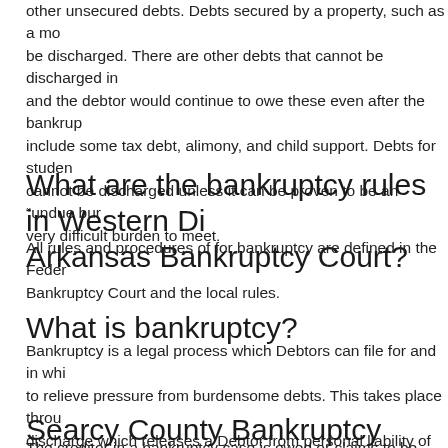other unsecured debts. Debts secured by a property, such as a mortgage, cannot always be discharged. There are other debts that cannot be discharged in bankruptcy and the debtor would continue to owe these even after the bankruptcy is over. These include some tax debt, alimony, and child support. Debts for student loans also cannot be discharged unless it can be proven to be an "undue burden" which is a very difficult burden to meet.
What are the bankruptcy rules in Western District Arkansas Bankruptcy Court?
All rules and procedures of for bankruptcy are defined in the Federal Rules of Bankruptcy Court and the local rules.
What is bankruptcy?
Bankruptcy is a legal process which Debtors can file for and in which they are able to relieve pressure from burdensome debts. This takes place through a bankruptcy discharge which releases a Debtor from personal liability of certain debts and prevents Creditors from ever taking action against the Debtor to collect those debts.
Searcy County Bankruptcy case Creditor
The creditor in a bankruptcy case is owed or claims to be owed money